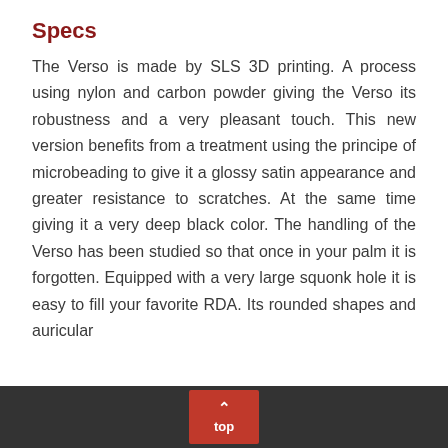Specs
The Verso is made by SLS 3D printing. A process using nylon and carbon powder giving the Verso its robustness and a very pleasant touch. This new version benefits from a treatment using the principe of microbeading to give it a glossy satin appearance and greater resistance to scratches. At the same time giving it a very deep black color. The handling of the Verso has been studied so that once in your palm it is forgotten. Equipped with a very large squonk hole it is easy to fill your favorite RDA. Its rounded shapes and auricular
top